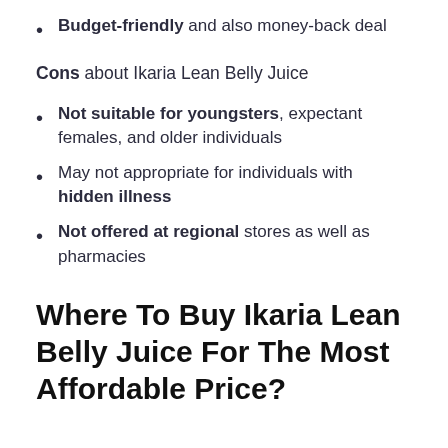Budget-friendly and also money-back deal
Cons about Ikaria Lean Belly Juice
Not suitable for youngsters, expectant females, and older individuals
May not appropriate for individuals with hidden illness
Not offered at regional stores as well as pharmacies
Where To Buy Ikaria Lean Belly Juice For The Most Affordable Price?